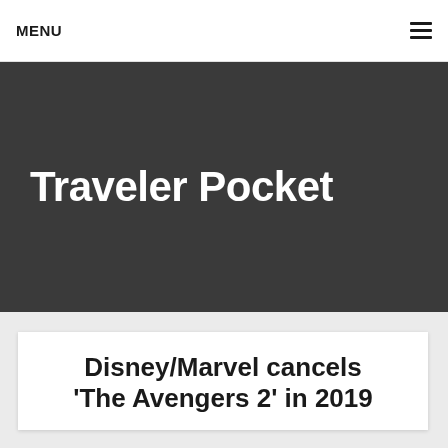MENU
Traveler Pocket
Disney/Marvel cancels 'The Avengers 2' in 2019